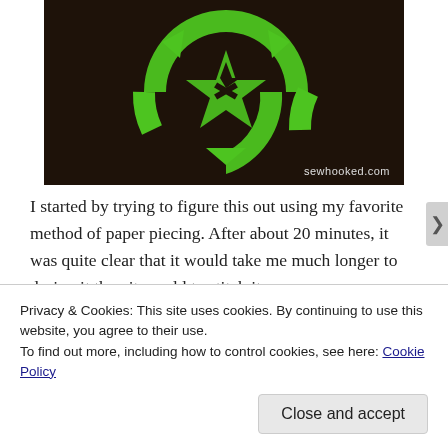[Figure (photo): Dark brown/black fabric background with a bright green recycling/anarchy-style symbol stitched on it. Watermark 'sewhooked.com' in bottom right corner.]
I started by trying to figure this out using my favorite method of paper piecing. After about 20 minutes, it was quite clear that it would take me much longer to design it than it would to stitch it.
Privacy & Cookies: This site uses cookies. By continuing to use this website, you agree to their use.
To find out more, including how to control cookies, see here: Cookie Policy
Close and accept